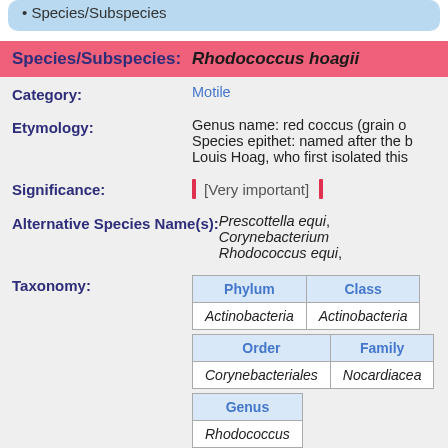Species/Subspecies
| Species/Subspecies: | Rhodococcus hoagii |
| --- | --- |
| Field | Value |
| --- | --- |
| Category: | Motile |
| Etymology: | Genus name: red coccus (grain or...) Species epithet: named after the b... Louis Hoag, who first isolated this |
| Significance: | [Very important] |
| Alternative Species Name(s): | Prescottella equi, Corynebacterium... Rhodococcus equi, |
| Taxonomy: | Phylum: Actinobacteria, Class: Actinobacteria, Order: Corynebacteriales, Family: Nocardiaceae, Genus: Rhodococcus |